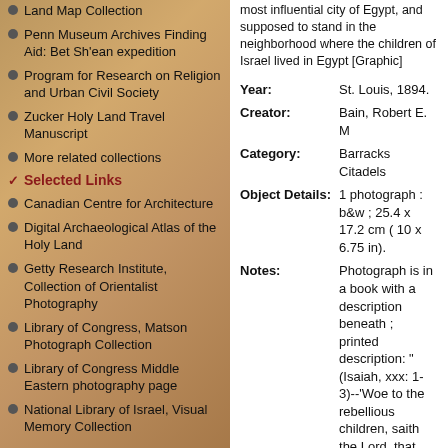Land Map Collection
Penn Museum Archives Finding Aid: Bet Sh'ean expedition
Program for Research on Religion and Urban Civil Society
Zucker Holy Land Travel Manuscript
More related collections
Selected Links
Canadian Centre for Architecture
Digital Archaeological Atlas of the Holy Land
Getty Research Institute, Collection of Orientalist Photography
Library of Congress, Matson Photograph Collection
Library of Congress Middle Eastern photography page
National Library of Israel, Visual Memory Collection
most influential city of Egypt, and supposed to stand in the neighborhood where the children of Israel lived in Egypt [Graphic]
| Field | Value |
| --- | --- |
| Year: | St. Louis, 1894. |
| Creator: | Bain, Robert E. M |
| Category: | Barracks
Citadels |
| Object Details: | 1 photograph : b&w ; 25.4 x 17.2 cm ( 10 x 6.75 in). |
| Notes: | Photograph is in a book with a description beneath ; printed description: "(Isaiah, xxx: 1-3)--'Woe to the rebellious children, saith the Lord, that take counsel, but not of me; and that cover with a covering, but not of my spirit, that they may add sin to sin: that will to go down |